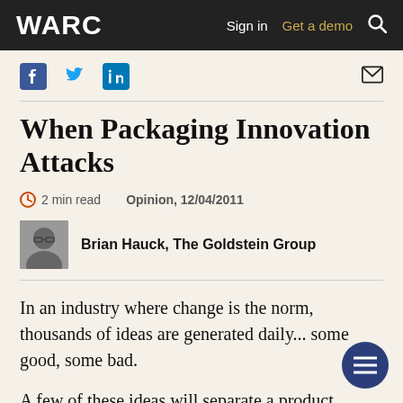WARC | Sign in | Get a demo
[Figure (other): Social sharing icons: Facebook, Twitter, LinkedIn, and email/envelope icon]
When Packaging Innovation Attacks
2 min read   Opinion, 12/04/2011
Brian Hauck, The Goldstein Group
In an industry where change is the norm, thousands of ideas are generated daily... some good, some bad.
A few of these ideas will separate a product